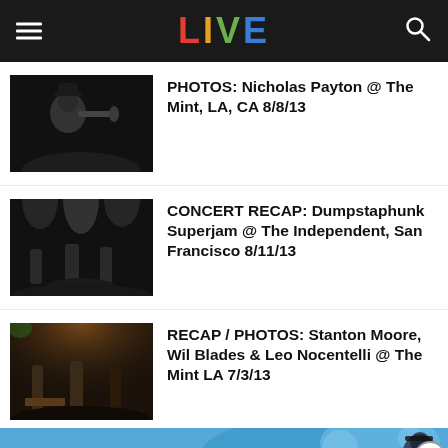LIVE
PHOTOS: Nicholas Payton @ The Mint, LA, CA 8/8/13
CONCERT RECAP: Dumpstaphunk Superjam @ The Independent, San Francisco 8/11/13
RECAP / PHOTOS: Stanton Moore, Wil Blades & Leo Nocentelli @ The Mint LA 7/3/13
[Figure (photo): Colorful concert banner advertisement at bottom of page]